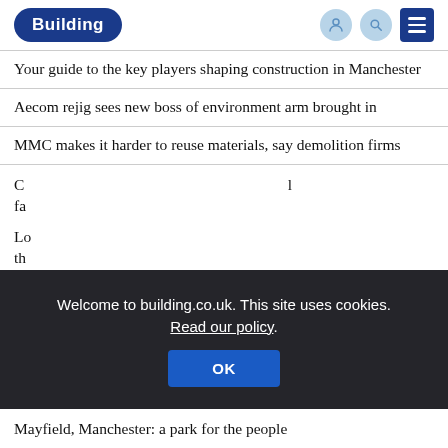Building
Your guide to the key players shaping construction in Manchester
Aecom rejig sees new boss of environment arm brought in
MMC makes it harder to reuse materials, say demolition firms
C... fa... (partially visible behind cookie overlay)
Lo... th... (partially visible behind cookie overlay)
[Figure (screenshot): Cookie consent overlay: 'Welcome to building.co.uk. This site uses cookies. Read our policy.' with an OK button.]
Mayfield, Manchester: a park for the people